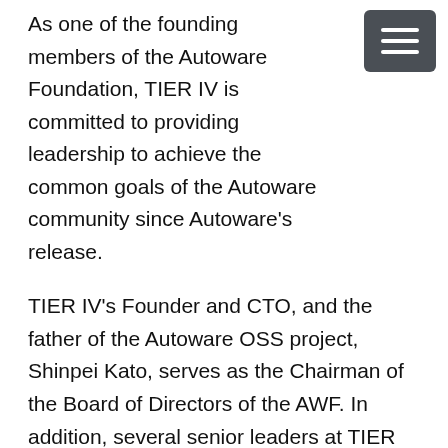As one of the founding members of the Autoware Foundation, TIER IV is committed to providing leadership to achieve the common goals of the Autoware community since Autoware’s release.
TIER IV’s Founder and CTO, and the father of the Autoware OSS project, Shinpei Kato, serves as the Chairman of the Board of Directors of the AWF. In addition, several senior leaders at TIER IV hold chair/co-chair positions on the AWF committees which define the direction of the Autoware project and ecosystem, as well as in the working groups which work to advance the capabilities of Autoware.
Most importantly, TIER IV works closely with our partners, the member companies and institutions of the AWF, to advance the state of the art of